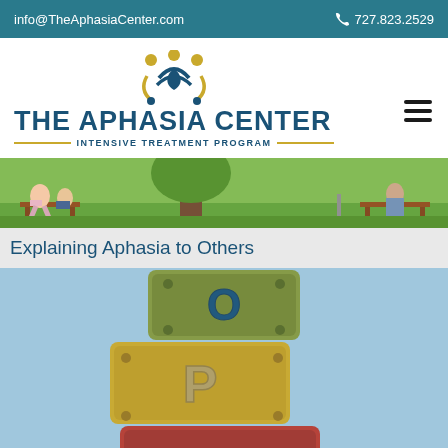info@TheAphasiaCenter.com   727.823.2529
[Figure (logo): The Aphasia Center logo with circular figures icon and text 'THE APHASIA CENTER INTENSIVE TREATMENT PROGRAM']
[Figure (photo): Outdoor park scene with people sitting on benches, green trees in background]
Explaining Aphasia to Others
[Figure (photo): Stacked children's alphabet blocks (letter blocks) against a light blue background, showing letters O, P, and another block at bottom]